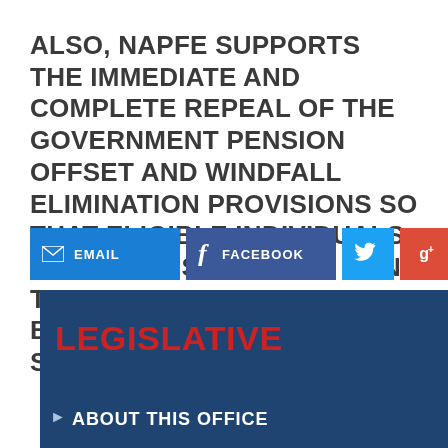ALSO, NAPFE SUPPORTS THE IMMEDIATE AND COMPLETE REPEAL OF THE GOVERNMENT PENSION OFFSET AND WINDFALL ELIMINATION PROVISIONS SO THAT ELIGIBLE INDIVIDUALS AND THEIR SURVIVORS CAN THE FULL SOCIAL SECURITY BENEFIT EARNED BY THEIR SPOUSES.
[Figure (infographic): Social sharing buttons row: EMAIL (blue), FACEBOOK (dark blue), Twitter bird icon (light blue), Google+ icon (red), LinkedIn 'in' icon (dark blue)]
LEGISLATIVE
ABOUT THIS OFFICE